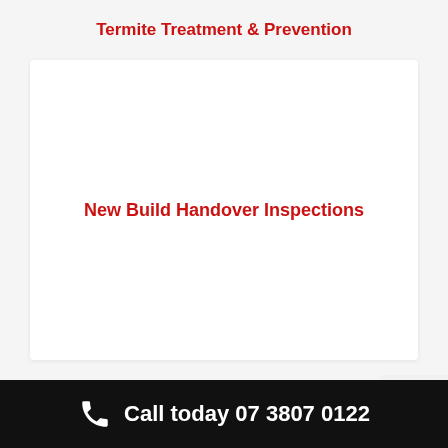Termite Treatment & Prevention
New Build Handover Inspections
INDUSTRY
Call today 07 3807 0122